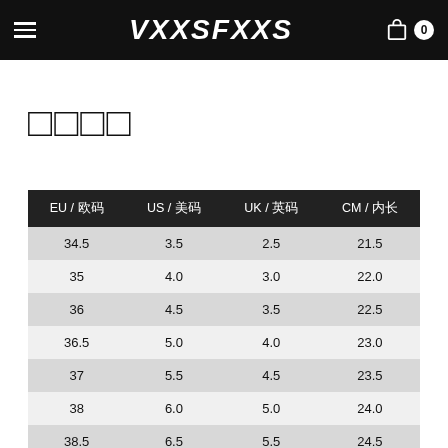VXXSFXXS
□□□□
| EU / 欧码 | US / 美码 | UK / 英码 | CM / 内长 |
| --- | --- | --- | --- |
| 34.5 | 3.5 | 2.5 | 21.5 |
| 35 | 4.0 | 3.0 | 22.0 |
| 36 | 4.5 | 3.5 | 22.5 |
| 36.5 | 5.0 | 4.0 | 23.0 |
| 37 | 5.5 | 4.5 | 23.5 |
| 38 | 6.0 | 5.0 | 24.0 |
| 38.5 | 6.5 | 5.5 | 24.5 |
| 39 | 7.0 | 6.0 | 25.0 |
| 40 | 7.5 | 6.5 | 25.5 |